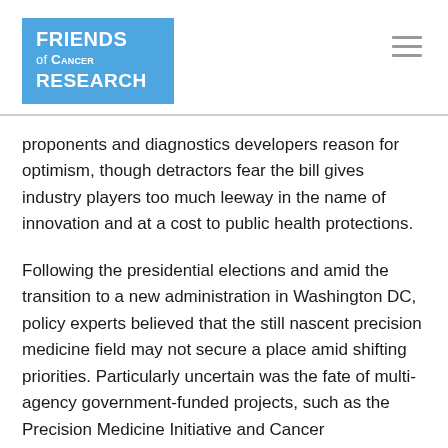[Figure (logo): Friends of Cancer Research logo — white text on blue background]
proponents and diagnostics developers reason for optimism, though detractors fear the bill gives industry players too much leeway in the name of innovation and at a cost to public health protections.
Following the presidential elections and amid the transition to a new administration in Washington DC, policy experts believed that the still nascent precision medicine field may not secure a place amid shifting priorities. Particularly uncertain was the fate of multi-agency government-funded projects, such as the Precision Medicine Initiative and Cancer